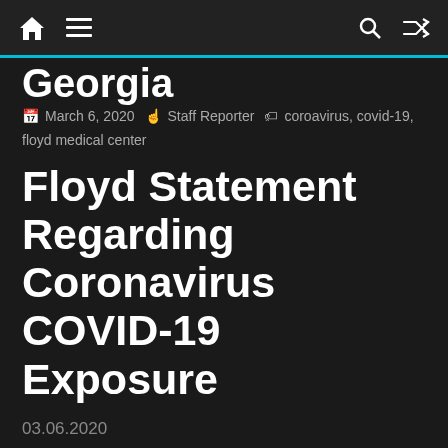Navigation bar with home, menu, search, and shuffle icons
Georgia
March 6, 2020  Staff Reporter  coroavirus, covid-19, floyd medical center
Floyd Statement Regarding Coronavirus COVID-19 Exposure
03.06.2020
Late Thursday evening (3/5/20) Floyd received notification from Georgia Department of Public Health (GDPH) that a patient in our hospital has